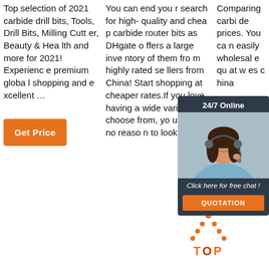Top selection of 2021 carbide drill bits, Tools, Drill Bits, Milling Cutter, Beauty & Health and more for 2021! Experience premium global shopping and excellent …
You can end your search for high-quality and cheap carbide router bits as DHgate offers a large inventory of them from highly rated sellers from China! Start shopping at cheaper rates.If you love having a wide variety to choose from, you have no reason to look elsewh
Comparing carbide prices. You can easily wholesale quality at wholesale prices on Made-in-China
[Figure (infographic): 24/7 Online chat popup with a woman wearing a headset, blue background, with a 'Click here for free chat!' message and an orange QUOTATION button]
[Figure (infographic): Orange and red dotted arrow pointing upward forming a house/tent shape, with 'TOP' text in orange below it — a back-to-top icon]
Get Price